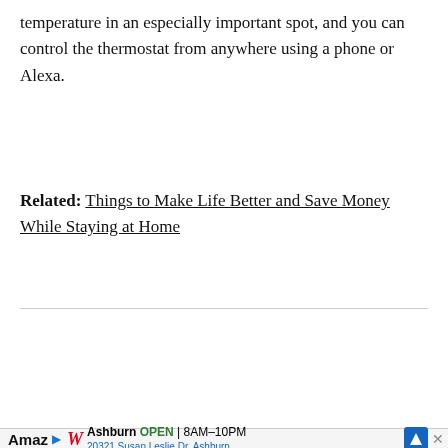temperature in an especially important spot, and you can control the thermostat from anywhere using a phone or Alexa.
Related: Things to Make Life Better and Save Money While Staying at Home
[Figure (screenshot): Media strip showing slide 15/30 with black panel on left, Tile product image in center, Pinterest share button on right, overlaid with a video player overlay showing 'Ad 1 of 1 (0:15)' and 'Up Next - Video of the Day: - 24 Hours With Coco Gauff As She Prepares for the Atlanta Open']
[Figure (screenshot): Ad banner at bottom: Amazon label, Walgreens logo, 'Ashburn OPEN 8AM-10PM, 20321 Susan Leslie Dr, Ashburn' with navigation icon]